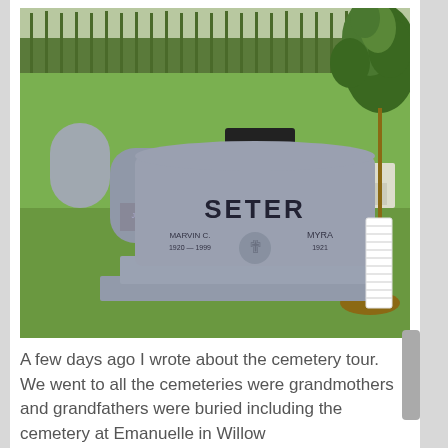[Figure (photo): Cemetery scene showing a large granite headstone marked 'SETER' with 'MARVIN C. 1920-1999' and 'MYRA 1921' inscribed. Behind it are other grave markers including 'NEIL' and 'LUND'. A young tree in a white spiral protective tube guard is visible on the right side. Green grass lawn and a treeline in the background.]
A few days ago I wrote about the cemetery tour. We went to all the cemeteries were grandmothers and grandfathers were buried including the cemetery at Emanuelle in Willow